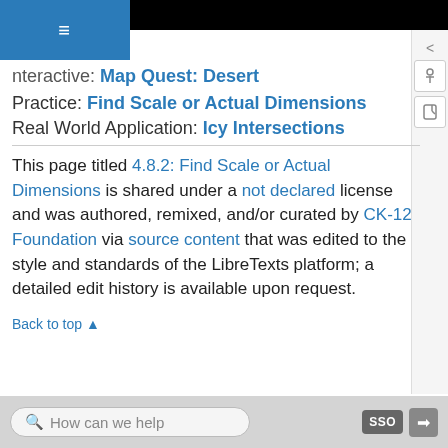Interactive: Map Quest: Desert
Practice: Find Scale or Actual Dimensions
Real World Application: Icy Intersections
This page titled 4.8.2: Find Scale or Actual Dimensions is shared under a not declared license and was authored, remixed, and/or curated by CK-12 Foundation via source content that was edited to the style and standards of the LibreTexts platform; a detailed edit history is available upon request.
Back to top ▲
How can we help